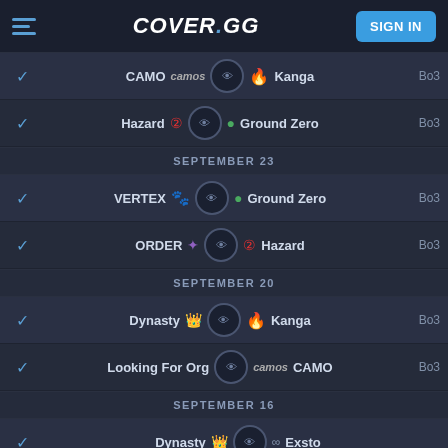COVER.GG — SIGN IN
CAMO vs Kanga — Bo3 (completed)
Hazard vs Ground Zero — Bo3 (completed)
SEPTEMBER 23
VERTEX vs Ground Zero — Bo3 (completed)
ORDER vs Hazard — Bo3 (completed)
SEPTEMBER 20
Dynasty vs Kanga — Bo3 (completed)
Looking For Org vs CAMO — Bo3 (completed)
SEPTEMBER 16
Dynasty vs Exsto (completed)
SEPTEMBER 13